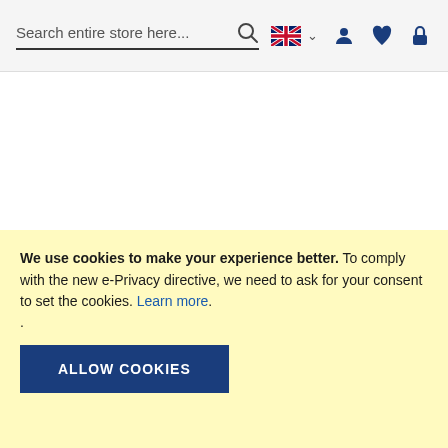Search entire store here...
[Figure (screenshot): Carousel indicator dots — one filled dark dot and two lighter dots indicating slide position]
Newsletter
We use cookies to make your experience better. To comply with the new e-Privacy directive, we need to ask for your consent to set the cookies. Learn more.
ALLOW COOKIES